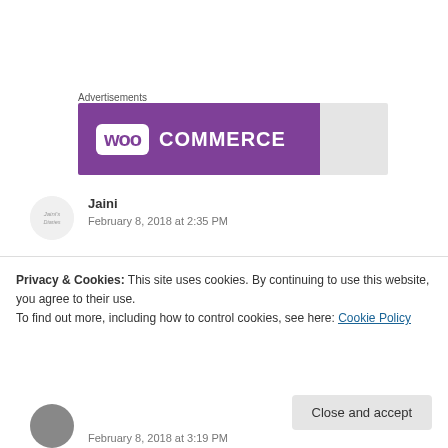Advertisements
[Figure (logo): WooCommerce logo banner: purple rectangle with WooCommerce logo in white, followed by a gray rectangle]
Jaini
February 8, 2018 at 2:35 PM
LOVE THIS! Just one question: is it wheelchair accessible?
Privacy & Cookies: This site uses cookies. By continuing to use this website, you agree to their use.
To find out more, including how to control cookies, see here: Cookie Policy
Close and accept
February 8, 2018 at 3:19 PM